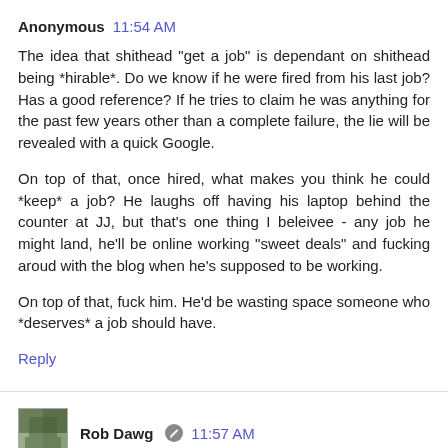Anonymous  11:54 AM
The idea that shithead "get a job" is dependant on shithead being *hirable*. Do we know if he were fired from his last job? Has a good reference? If he tries to claim he was anything for the past few years other than a complete failure, the lie will be revealed with a quick Google.
On top of that, once hired, what makes you think he could *keep* a job? He laughs off having his laptop behind the counter at JJ, but that's one thing I beleivee - any job he might land, he'll be online working "sweet deals" and fucking aroud with the blog when he's supposed to be working.
On top of that, fuck him. He'd be wasting space someone who *deserves* a job should have.
Reply
Rob Dawg  11:57 AM